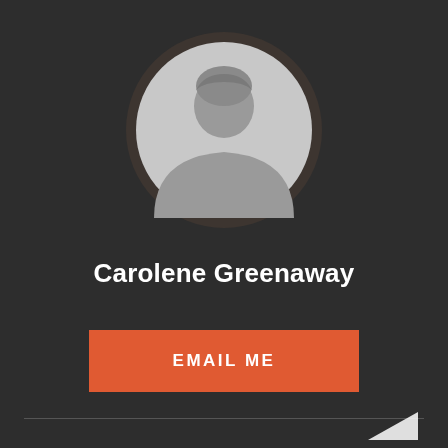[Figure (illustration): Circular generic user avatar silhouette with dark border ring on dark background]
Carolene Greenaway
EMAIL ME
[Figure (logo): Partial logo visible at bottom right corner of page]